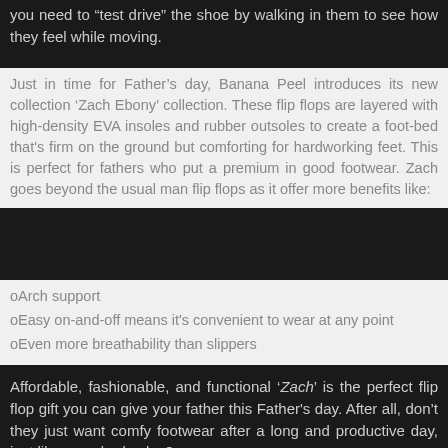you need to “test drive” the shoe by walking in them to see how they feel while moving.
Just in time for Father’s day, Banana Peel introduces its new collection ‘Zach Ebony’ collection. These flip flops are layered with high-density EVA insoles and rubber outsoles to create a foot-bed that's firm on the ground but comforting for hardworking feet. This is perfect for fathers who put a premium in good footwear. Zach goes beyond the usual man flip flops as it offer more benefits like:
Arch support
Easy on-and-off means it's convenient to wear at any point
Even more breathability than slippers
Affordable, fashionable, and functional ‘Zach’ is the perfect flip flop gift you can give your father this Father's day. After all, don’t they just want comfy footwear after a long and productive day, just like everybody else?